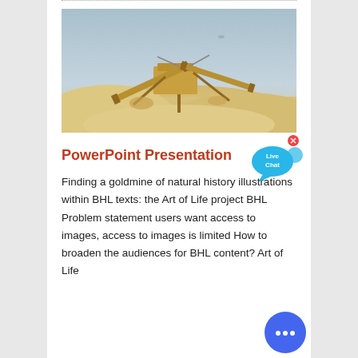[Figure (photo): Mining equipment / conveyor belt machinery on sandy terrain with clear sky background]
PowerPoint Presentation
Finding a goldmine of natural history illustrations within BHL texts: the Art of Life project BHL Problem statement users want access to images, access to images is limited How to broaden the audiences for BHL content? Art of Life